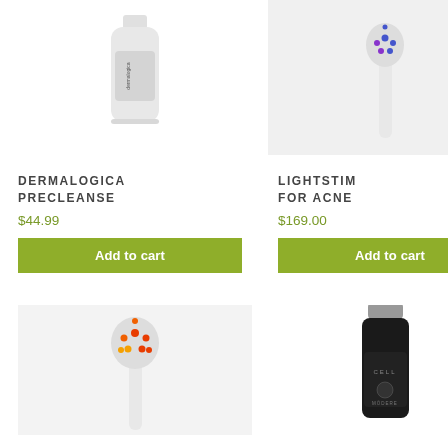[Figure (photo): Dermalogica PreCleanse white bottle product photo on white background]
DERMALOGICA PRECLEANSE
$44.99
Add to cart
[Figure (photo): LightStim for Acne LED light therapy device on white/grey background]
LIGHTSTIM FOR ACNE
$169.00
Add to cart
[Figure (photo): LightStim red LED therapy device on light grey background]
[Figure (photo): Modere CCell dark bottle with grey cap product photo on white background]